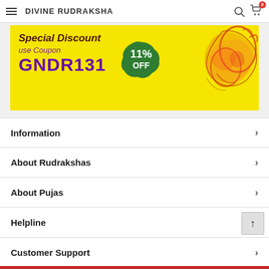DIVINE RUDRAKSHA
[Figure (infographic): Yellow banner with Special Discount coupon code GNDR131 for 11% OFF, with decorative Ganesha floral motif on right side]
Information
About Rudrakshas
About Pujas
Helpline
Customer Support